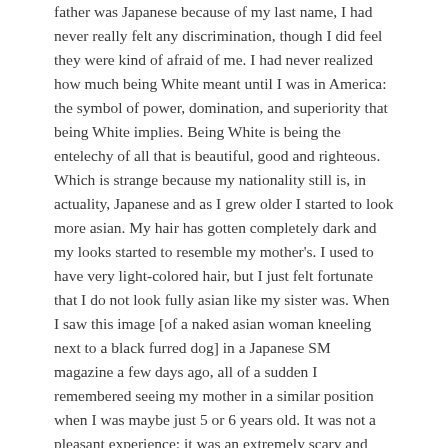father was Japanese because of my last name, I had never really felt any discrimination, though I did feel they were kind of afraid of me. I had never realized how much being White meant until I was in America: the symbol of power, domination, and superiority that being White implies. Being White is being the entelechy of all that is beautiful, good and righteous. Which is strange because my nationality still is, in actuality, Japanese and as I grew older I started to look more asian. My hair has gotten completely dark and my looks started to resemble my mother's. I used to have very light-colored hair, but I just felt fortunate that I do not look fully asian like my sister was. When I saw this image [of a naked asian woman kneeling next to a black furred dog] in a Japanese SM magazine a few days ago, all of a sudden I remembered seeing my mother in a similar position when I was maybe just 5 or 6 years old. It was not a pleasant experience; it was an extremely scary and traumatic experience, and growing up I heard constant moaning and muffled screams coming from my parents' bedroom. Every